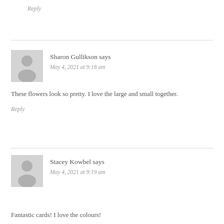Reply
Sharon Gullikson says
May 4, 2021 at 9:18 am
These flowers look so pretty. I love the large and small together.
Reply
Stacey Kowbel says
May 4, 2021 at 9:19 am
Fantastic cards! I love the colours!